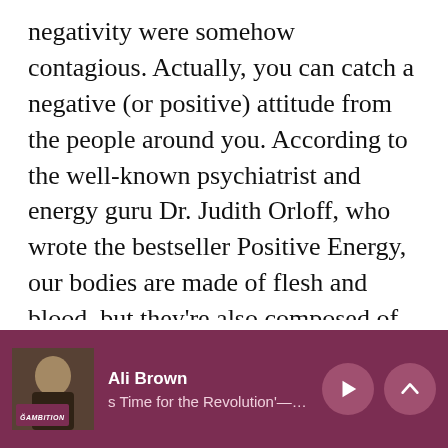negativity were somehow contagious. Actually, you can catch a negative (or positive) attitude from the people around you. According to the well-known psychiatrist and energy guru Dr. Judith Orloff, who wrote the bestseller Positive Energy, our bodies are made of flesh and blood, but they're also composed of energy fields. Negative energy like fear, anger, and hopelessness drags us down and drain our energy, but positive energy, like compassion, courage, and forgiveness, improves our
[Figure (screenshot): Audio player bar with dark magenta background showing Ali Brown podcast. Thumbnail image of a blonde woman (Ali Brown) on the left with 'AMBITION' logo overlay. Player shows name 'Ali Brown' and episode title 's Time for the Revolution' — Glambiti (truncated). Play button and up arrow button on the right.]